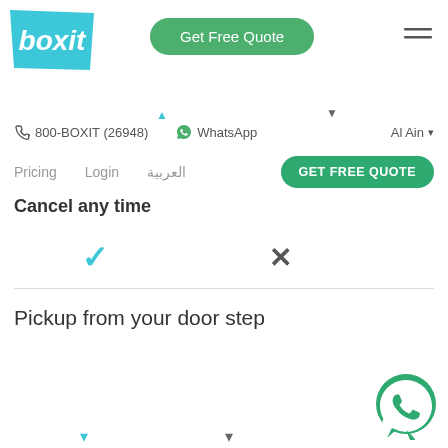[Figure (logo): Boxit logo in light blue trapezoid shape with white italic text]
Get Free Quote
800-BOXIT (26948)  WhatsApp  Al Ain
Pricing  Login  العربية  GET FREE QUOTE
Cancel any time
✓  ✕
Pickup from your door step
[Figure (logo): WhatsApp floating action button icon, green circle with phone handset]